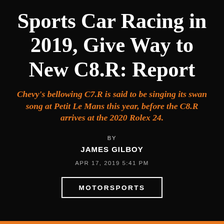Sports Car Racing in 2019, Give Way to New C8.R: Report
Chevy’s bellowing C7.R is said to be singing its swan song at Petit Le Mans this year, before the C8.R arrives at the 2020 Rolex 24.
BY
JAMES GILBOY
APR 17, 2019 5:41 PM
MOTORSPORTS